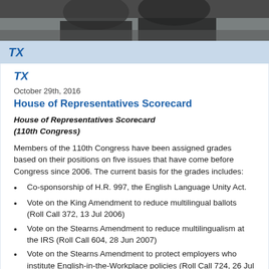[Figure (photo): Photo of people in formal attire, partially cropped at top]
TX
TX
October 29th, 2016
House of Representatives Scorecard
House of Representatives Scorecard
(110th Congress)
Members of the 110th Congress have been assigned grades based on their positions on five issues that have come before Congress since 2006. The current basis for the grades includes:
Co-sponsorship of H.R. 997, the English Language Unity Act.
Vote on the King Amendment to reduce multilingual ballots (Roll Call 372, 13 Jul 2006)
Vote on the Stearns Amendment to reduce multilingualism at the IRS (Roll Call 604, 28 Jun 2007)
Vote on the Stearns Amendment to protect employers who institute English-in-the-Workplace policies (Roll Call 724, 26 Jul 2007)